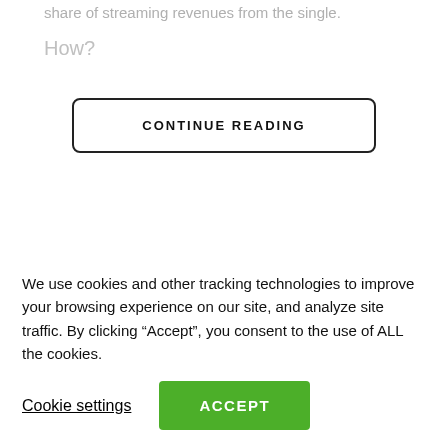share of streaming revenues from the single.
How?
CONTINUE READING
DON'T MISS OUT!
Subscribe To Newsletter
Enter your email address here
We use cookies and other tracking technologies to improve your browsing experience on our site, and analyze site traffic. By clicking “Accept”, you consent to the use of ALL the cookies.
Cookie settings
ACCEPT